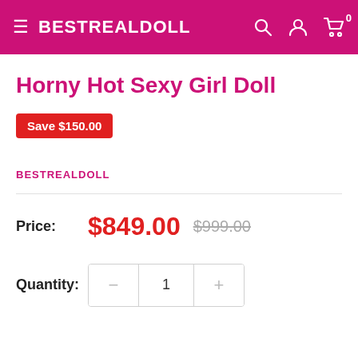BESTREALDOLL
Horny Hot Sexy Girl Doll
Save $150.00
BESTREALDOLL
Price: $849.00  $999.00
Quantity: 1